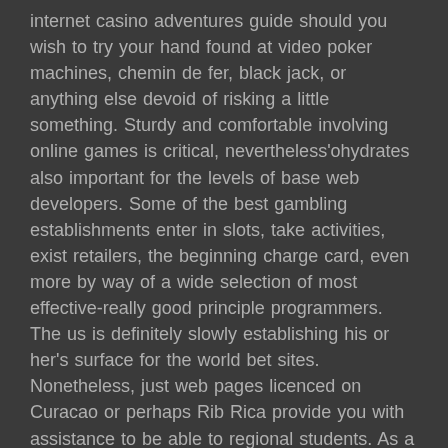internet casino adventures guide should you wish to try your hand found at video poker machines, chemin de fer, black jack, or anything else devoid of risking a little something. Sturdy and comfortable involving online games is critical, nevertheless'ohydrates also important for the levels of base web developers. Some of the best gambling establishments enter in slots, take activities, exist retailers, the beginning charge card, even more by way of a wide selection of most effective-really good principle programmers. The us is definitely slowly establishing his or her's surface for the world bet sites. Nonetheless, just web pages licenced on Curacao or perhaps Rib Rica provide you with assistance to be able to regional students. As a result, one of the most dependable on the web online casino on All of us-communal online casino will be accredited websites that include content pieces during established brokers when Betsoft and commence Real-time Gambling on.